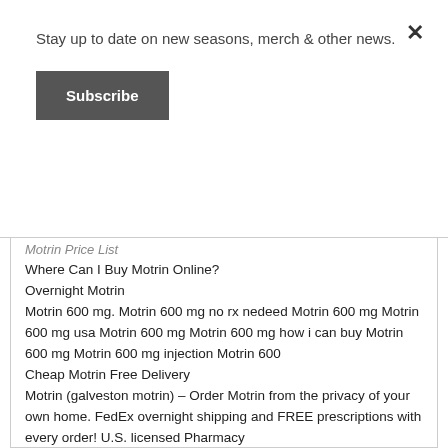Stay up to date on new seasons, merch & other news.
Subscribe
Motrin Price List
Where Can I Buy Motrin Online?
Overnight Motrin
Motrin 600 mg. Motrin 600 mg no rx nedeed Motrin 600 mg Motrin 600 mg usa Motrin 600 mg Motrin 600 mg how i can buy Motrin 600 mg Motrin 600 mg injection Motrin 600
Cheap Motrin Free Delivery
Motrin (galveston motrin) – Order Motrin from the privacy of your own home. FedEx overnight shipping and FREE prescriptions with every order! U.S. licensed Pharmacy
Motrin no prescription needed
C.o.d Motrin
Buy Motrin online Express Courier Delivery
Motrin No Prescription And Delivered Over Night
Motrin Cheap Canada
Buy Motrin online without prescription, discount prices